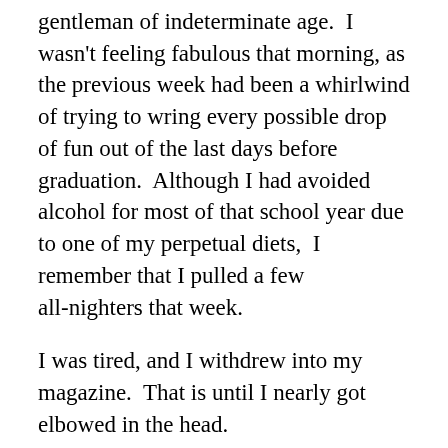gentleman of indeterminate age.  I wasn't feeling fabulous that morning, as the previous week had been a whirlwind of trying to wring every possible drop of fun out of the last days before graduation.  Although I had avoided alcohol for most of that school year due to one of my perpetual diets,  I remember that I pulled a few all-nighters that week.
I was tired, and I withdrew into my magazine.  That is until I nearly got elbowed in the head.
Now I am a polite and usually a cheerful individual, but I was trying to ignore the man in the seat next to me, which was made impossible by the fact that he was trying to put